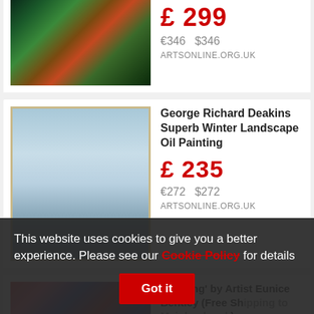[Figure (photo): Partial top painting image - colorful bird/rooster artwork with swirling background]
£ 299
€346  $346
ARTSONLINE.ORG.UK
[Figure (photo): Winter landscape oil painting in frame, snowy scene with bare trees]
George Richard Deakins Superb Winter Landscape Oil Painting
£ 235
€272  $272
ARTSONLINE.ORG.UK
[Figure (photo): Colorful party/wedding scene painting]
Wedding' by Artist Eunice Bentley (Free Shipping to Mainland and)
£ 165
This website uses cookies to give you a better experience. Please see our Cookie Policy for details